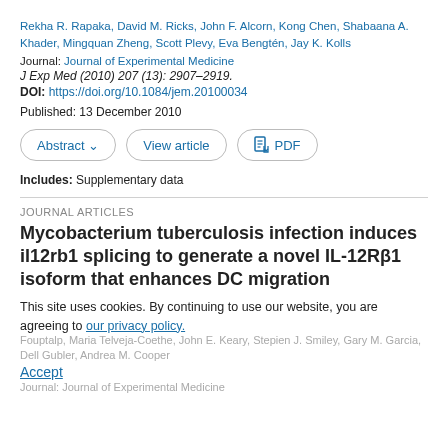Rekha R. Rapaka, David M. Ricks, John F. Alcorn, Kong Chen, Shabaana A. Khader, Mingquan Zheng, Scott Plevy, Eva Bengtén, Jay K. Kolls
Journal: Journal of Experimental Medicine
J Exp Med (2010) 207 (13): 2907–2919.
DOI: https://doi.org/10.1084/jem.20100034
Published: 13 December 2010
Abstract ∨   View article   PDF
Includes: Supplementary data
JOURNAL ARTICLES
Mycobacterium tuberculosis infection induces il12rb1 splicing to generate a novel IL-12Rβ1 isoform that enhances DC migration
This site uses cookies. By continuing to use our website, you are agreeing to our privacy policy. Accept